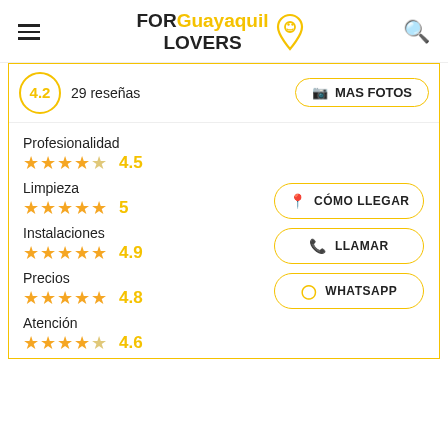[Figure (logo): FOR Guayaquil LOVERS logo with location pin icon]
4.2  29 reseñas
MAS FOTOS
Profesionalidad
4.5
Limpieza
5
Instalaciones
4.9
Precios
4.8
Atención
4.6
CÓMO LLEGAR
LLAMAR
WHATSAPP